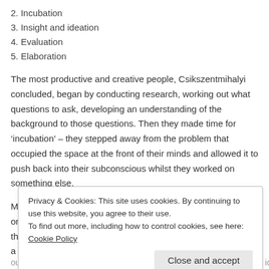2. Incubation
3. Insight and ideation
4. Evaluation
5. Elaboration
The most productive and creative people, Csikszentmihalyi concluded, began by conducting research, working out what questions to ask, developing an understanding of the background to those questions. Then they made time for ‘incubation’ – they stepped away from the problem that occupied the space at the front of their minds and allowed it to push back into their subconscious whilst they worked on something else.
Many leaders who juggle various projects or problems at any one time – and that invariably means all school leaders – find that incubation takes place naturally because if they switch to a different project or switch off from work, they
Privacy & Cookies: This site uses cookies. By continuing to use this website, you agree to their use.
To find out more, including how to control cookies, see here: Cookie Policy
out of incubation and into insight. Other times, leaders have to force ideas out of